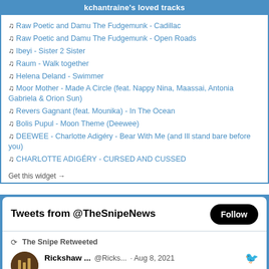kchantraine's loved tracks
♫ Raw Poetic and Damu The Fudgemunk - Cadillac
♫ Raw Poetic and Damu The Fudgemunk - Open Roads
♫ Ibeyi - Sister 2 Sister
♫ Raum - Walk together
♫ Helena Deland - Swimmer
♫ Moor Mother - Made A Circle (feat. Nappy Nina, Maassai, Antonia Gabriela & Orion Sun)
♫ Revers Gagnant (feat. Mounika) - In The Ocean
♫ Bolis Pupul - Moon Theme (Deewee)
♫ DEEWEE - Charlotte Adigéry - Bear With Me (and Ill stand bare before you)
♫ CHARLOTTE ADIGÉRY - CURSED AND CUSSED
Get this widget →
[Figure (screenshot): Twitter widget showing Tweets from @TheSnipeNews with a Follow button, and a retweet by The Snipe of Rickshaw... @Ricks... Aug 8, 2021 mentioning @TheSnipeNews]